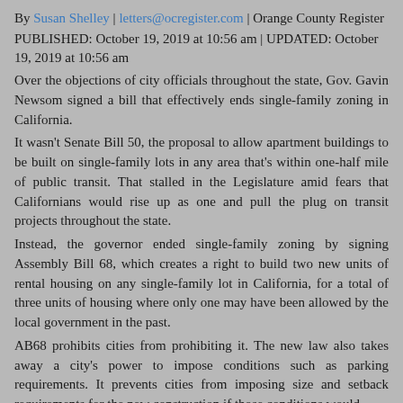By Susan Shelley | letters@ocregister.com | Orange County Register
PUBLISHED: October 19, 2019 at 10:56 am | UPDATED: October 19, 2019 at 10:56 am
Over the objections of city officials throughout the state, Gov. Gavin Newsom signed a bill that effectively ends single-family zoning in California.
It wasn't Senate Bill 50, the proposal to allow apartment buildings to be built on single-family lots in any area that's within one-half mile of public transit. That stalled in the Legislature amid fears that Californians would rise up as one and pull the plug on transit projects throughout the state.
Instead, the governor ended single-family zoning by signing Assembly Bill 68, which creates a right to build two new units of rental housing on any single-family lot in California, for a total of three units of housing where only one may have been allowed by the local government in the past.
AB68 prohibits cities from prohibiting it. The new law also takes away a city's power to impose conditions such as parking requirements. It prevents cities from imposing size and setback requirements for the new construction if those conditions would...